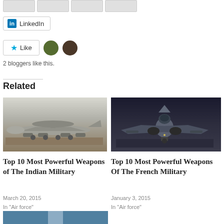[Figure (screenshot): Social share buttons row (partially visible at top)]
[Figure (screenshot): LinkedIn share button]
[Figure (screenshot): Like button with star icon and two blogger avatars]
2 bloggers like this.
Related
[Figure (photo): AWACS military surveillance aircraft on runway]
[Figure (photo): French Rafale fighter jet front view in hangar]
Top 10 Most Powerful Weapons of The Indian Military
Top 10 Most Powerful Weapons Of The French Military
March 20, 2015
In "Air force"
January 3, 2015
In "Air force"
[Figure (photo): Third related article image (partially visible at bottom)]